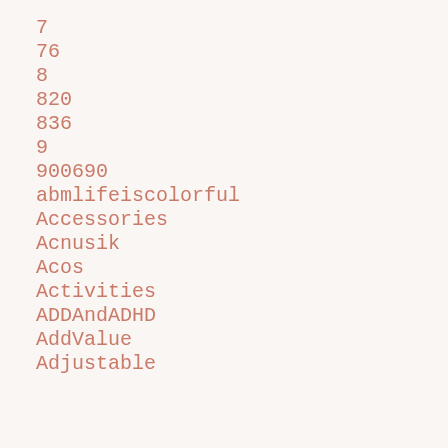7
76
8
820
836
9
900690
abmlifeiscolorful
Accessories
Acnusik
Acos
Activities
ADDAndADHD
AddValue
Adjustable